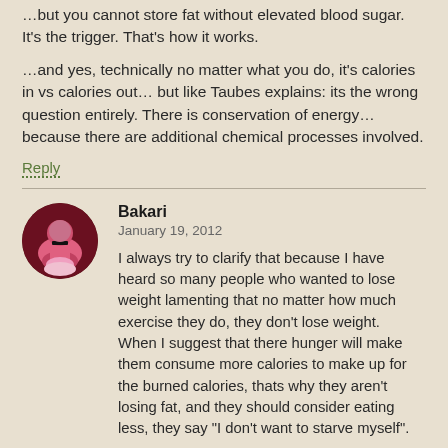…but you cannot store fat without elevated blood sugar. It's the trigger. That's how it works.
…and yes, technically no matter what you do, it's calories in vs calories out… but like Taubes explains: its the wrong question entirely. There is conservation of energy… because there are additional chemical processes involved.
Reply
Bakari
January 19, 2012

I always try to clarify that because I have heard so many people who wanted to lose weight lamenting that no matter how much exercise they do, they don't lose weight.
When I suggest that there hunger will make them consume more calories to make up for the burned calories, thats why they aren't losing fat, and they should consider eating less, they say "I don't want to starve myself".

I also find that many people claim that bodyfat percentage is purely a factor of genes or